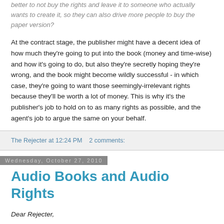better to not buy the rights and leave it to someone who actually wants to create it, so they can also drive more people to buy the paper version?
At the contract stage, the publisher might have a decent idea of how much they're going to put into the book (money and time-wise) and how it's going to do, but also they're secretly hoping they're wrong, and the book might become wildly successful - in which case, they're going to want those seemingly-irrelevant rights because they'll be worth a lot of money. This is why it's the publisher's job to hold on to as many rights as possible, and the agent's job to argue the same on your behalf.
The Rejecter at 12:24 PM   2 comments:
Wednesday, October 27, 2010
Audio Books and Audio Rights
Dear Rejecter,